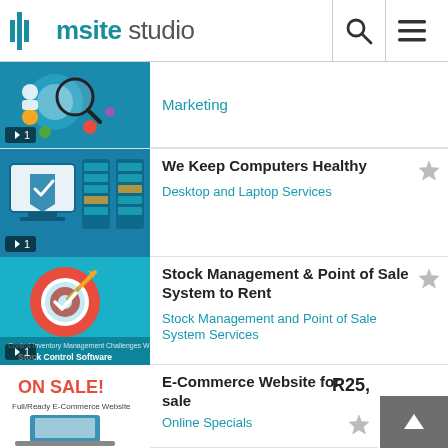msite studio
[Figure (screenshot): Thumbnail image showing online marketing concept with magnifying glass]
Marketing
[Figure (screenshot): Thumbnail showing computer security / antivirus concept with blue shield and server racks]
We Keep Computers Healthy
Desktop and Laptop Services
[Figure (screenshot): Thumbnail showing target/goal icon with Stock Control Software text on teal background]
Stock Management & Point of Sale System to Rent
Stock Management and Point of Sale System Services
[Figure (screenshot): Thumbnail showing ON SALE! Full/Ready E-Commerce Website on red and white background]
E-Commerce Website for sale
R25,000
Online Specials